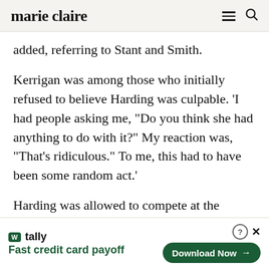marie claire
added, referring to Stant and Smith.
Kerrigan was among those who initially refused to believe Harding was culpable. ‘I had people asking me, “Do you think she had anything to do with it?” My reaction was, “That’s ridiculous.” To me, this had to have been some random act.’
Harding was allowed to compete at the
[Figure (screenshot): Advertisement banner for Tally app — 'Fast credit card payoff' with a green 'Download Now' button and close/help icons.]